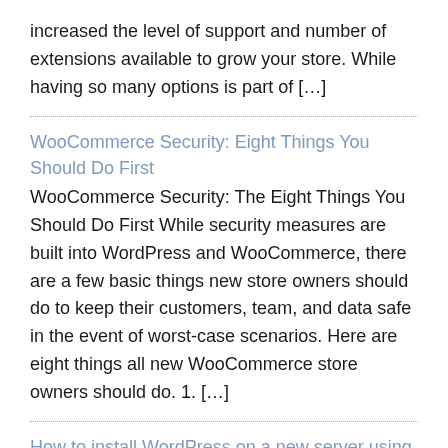increased the level of support and number of extensions available to grow your store. While having so many options is part of […]
WooCommerce Security: Eight Things You Should Do First
WooCommerce Security: The Eight Things You Should Do First While security measures are built into WordPress and WooCommerce, there are a few basic things new store owners should do to keep their customers, team, and data safe in the event of worst-case scenarios. Here are eight things all new WooCommerce store owners should do. 1. […]
How to install WordPress on a new server using a temporary URL
How to install WordPress on a new server using a temporary URL WordPress is dynamically driven Content Management System which is using the fully propagated domain name as a reference. This means that it will not work correctly on a new